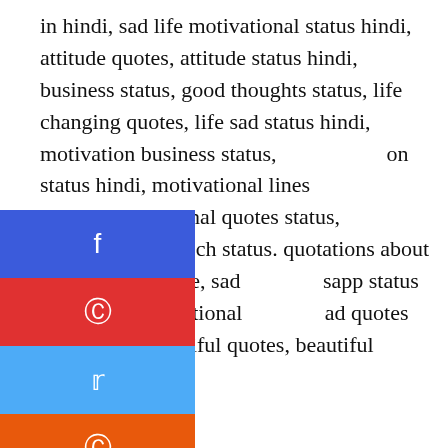in hindi, sad life motivational status hindi, attitude quotes, attitude status hindi, business status, good thoughts status, life changing quotes, life sad status hindi, motivation business status, on status hindi, motivational lines status, onal quotes status, motivational speech status, quotations about life, quotes on life, sad sapp status hindi, sad motivational ad quotes about love, beautiful quotes, beautiful quotes of life
[Figure (infographic): Four social share buttons stacked vertically on the left side: Facebook (blue), Pinterest (red), Twitter (light blue), Reddit (orange). Each button shows a social media icon.]